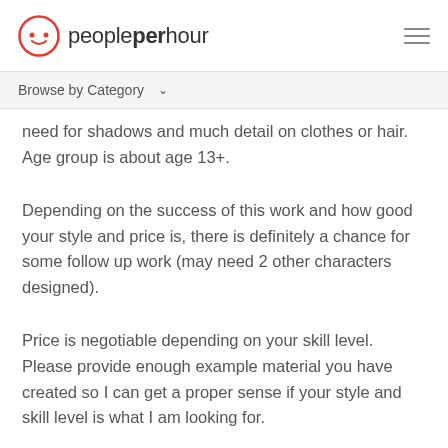peopleperhour
Browse by Category
need for shadows and much detail on clothes or hair. Age group is about age 13+.
Depending on the success of this work and how good your style and price is, there is definitely a chance for some follow up work (may need 2 other characters designed).
Price is negotiable depending on your skill level. Please provide enough example material you have created so I can get a proper sense if your style and skill level is what I am looking for.
Thanks, and I hope to hear from you!